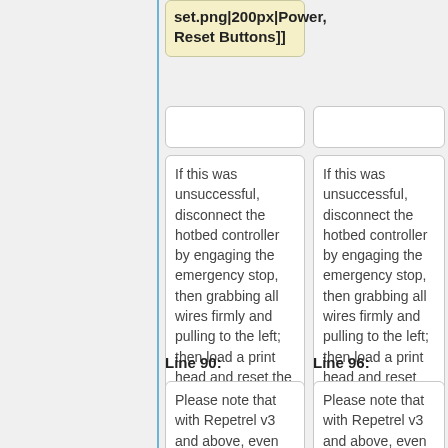set.png|200px|Power, Reset Buttons]]
If this was unsuccessful, disconnect the hotbed controller by engaging the emergency stop, then grabbing all wires firmly and pulling to the left; then load a print head and reset the printer:
If this was unsuccessful, disconnect the hotbed controller by engaging the emergency stop, then grabbing all wires firmly and pulling to the left; then load a print head and reset the printer:
Line 90:
Line 96:
Please note that with Repetrel v3 and above, even
Please note that with Repetrel v3 and above, even